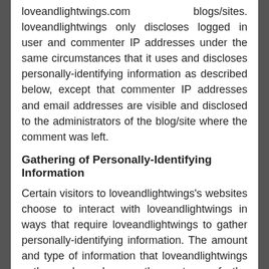loveandlightwings.com blogs/sites. loveandlightwings only discloses logged in user and commenter IP addresses under the same circumstances that it uses and discloses personally-identifying information as described below, except that commenter IP addresses and email addresses are visible and disclosed to the administrators of the blog/site where the comment was left.
Gathering of Personally-Identifying Information
Certain visitors to loveandlightwings's websites choose to interact with loveandlightwings in ways that require loveandlightwings to gather personally-identifying information. The amount and type of information that loveandlightwings gathers depends on the nature of the interaction. For example, we ask visitors who sign up at loveandlightwings.com to provide a username and email address. Those who engage in transactions with loveandlightwings are